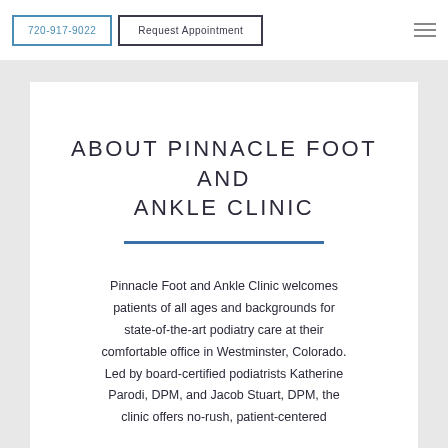720-917-9022 | Request Appointment
ABOUT PINNACLE FOOT AND ANKLE CLINIC
Pinnacle Foot and Ankle Clinic welcomes patients of all ages and backgrounds for state-of-the-art podiatry care at their comfortable office in Westminster, Colorado. Led by board-certified podiatrists Katherine Parodi, DPM, and Jacob Stuart, DPM, the clinic offers no-rush, patient-centered